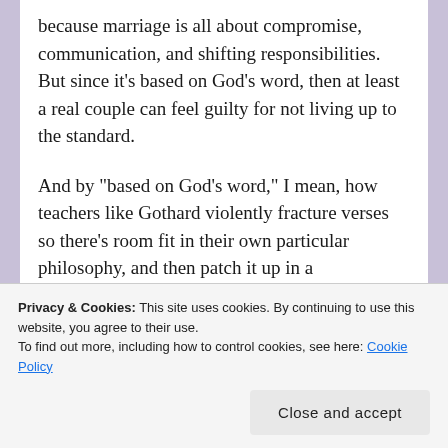because marriage is all about compromise, communication, and shifting responsibilities. But since it’s based on God’s word, then at least a real couple can feel guilty for not living up to the standard.
And by “based on God’s word,” I mean, how teachers like Gothard violently fracture verses so there’s room fit in their own particular philosophy, and then patch it up in a decomposing zombie version of what it originally was.
That sounds a little strong, but I’m not going to
Privacy & Cookies: This site uses cookies. By continuing to use this website, you agree to their use.
To find out more, including how to control cookies, see here: Cookie Policy
Close and accept
this consistent abuse of Scripture left me with a